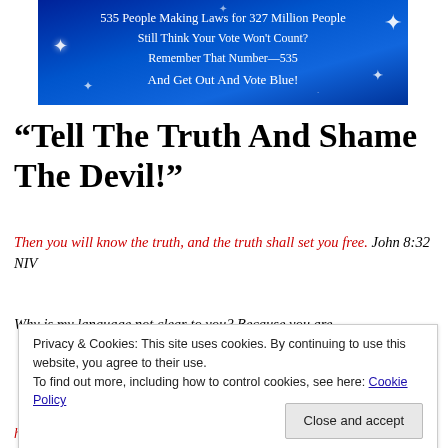[Figure (illustration): Blue starfield banner image with white text reading: '535 People Making Laws for 327 Million People / Still Think Your Vote Won't Count? / Remember That Number—535 / And Get Out And Vote Blue!']
“Tell The Truth And Shame The Devil!”
Then you will know the truth, and the truth shall set you free. John 8:32 NIV
Why is my language not clear to you? Because you are
Privacy & Cookies: This site uses cookies. By continuing to use this website, you agree to their use.
To find out more, including how to control cookies, see here: Cookie Policy
Close and accept
his native language, for he is a liar and the father of lies.